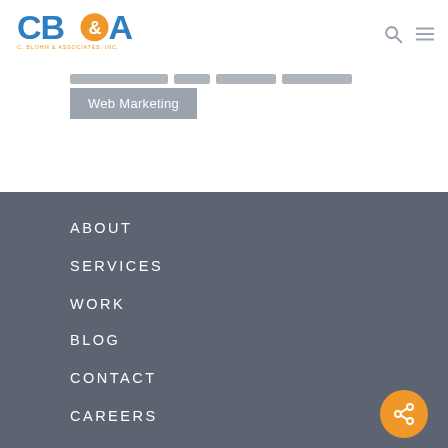[Figure (logo): CB&A C. Blohm & Associates, Inc. logo in blue and orange]
Web Marketing
ABOUT
SERVICES
WORK
BLOG
CONTACT
CAREERS